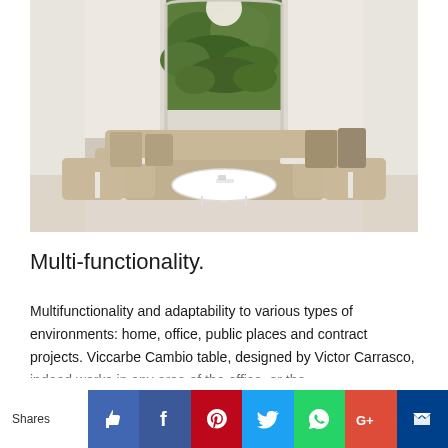[Figure (photo): Interior design photo of a large modular U-shaped beige/cream sofa set in a minimalist room with an arched window overlooking green foliage. A white oval coffee table sits in the center. Side tables are attached to the sofa arms. The room has cream/beige walls and flooring.]
Multi-functionality.
Multifunctionality and adaptability to various types of environments: home, office, public places and contract projects. Viccarbe Cambio table, designed by Victor Carrasco, indeed works in any area of the office, or the
Shares [Like] [Facebook] [Pinterest] [Twitter] [WhatsApp] [Google+] [Mail]